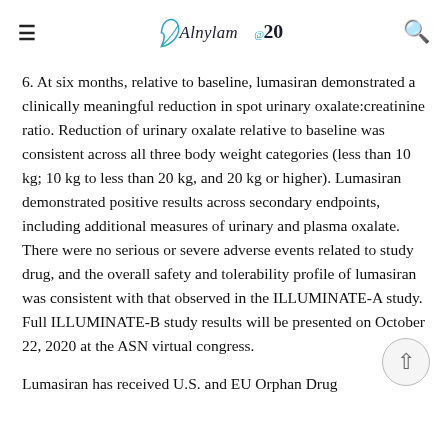Alnylam@20
6. At six months, relative to baseline, lumasiran demonstrated a clinically meaningful reduction in spot urinary oxalate:creatinine ratio. Reduction of urinary oxalate relative to baseline was consistent across all three body weight categories (less than 10 kg; 10 kg to less than 20 kg, and 20 kg or higher). Lumasiran demonstrated positive results across secondary endpoints, including additional measures of urinary and plasma oxalate. There were no serious or severe adverse events related to study drug, and the overall safety and tolerability profile of lumasiran was consistent with that observed in the ILLUMINATE-A study. Full ILLUMINATE-B study results will be presented on October 22, 2020 at the ASN virtual congress.
Lumasiran has received U.S. and EU Orphan Drug